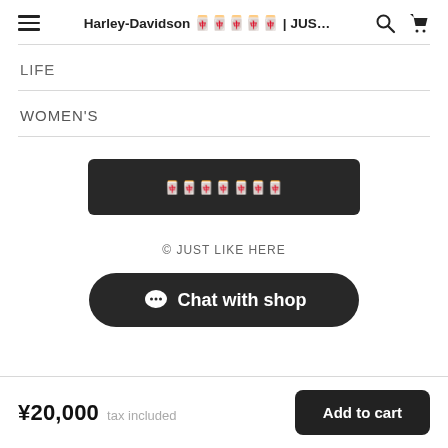Harley-Davidson ｊｕｓｔｌｉｋｅｈｅｒｅ | JUS…
LIFE
WOMEN'S
[Figure (other): Dark rectangular button with garbled/encoded text label]
© JUST LIKE HERE
[Figure (other): Chat with shop button with speech bubble icon]
¥20,000  tax included    Add to cart